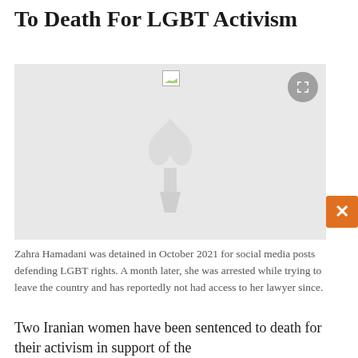To Death For LGBT Activism
[Figure (photo): Image placeholder with watermark logo (a stylized torch/flame icon in light gray). A fullscreen button (gray circle with expand icon) is in the top-right corner. The image failed to load, showing a broken image icon at top-center.]
Zahra Hamadani was detained in October 2021 for social media posts defending LGBT rights. A month later, she was arrested while trying to leave the country and has reportedly not had access to her lawyer since.
Two Iranian women have been sentenced to death for their activism in support of the